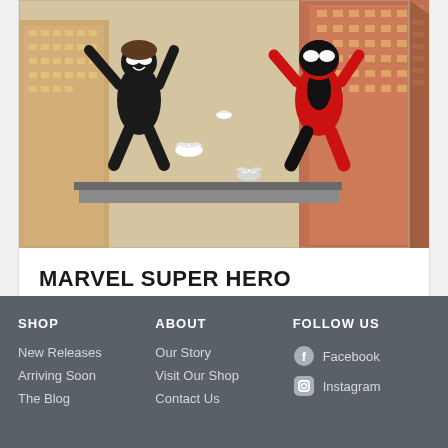[Figure (illustration): Comic book cover art showing two superhero characters swinging/flying over a city skyline with tall buildings. One character is in a black costume, the other in a red and black Spider-Man costume. Several white birds/doves fly around them.]
MARVEL SUPER HERO ADVENTURES GN
$18.98
SHOP
New Releases
Arriving Soon
The Blog
ABOUT
Our Story
Visit Our Shop
Contact Us
FOLLOW US
Facebook
Instagram